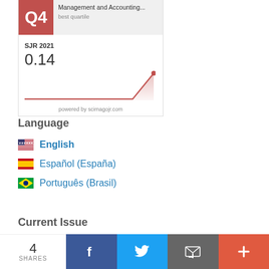[Figure (infographic): SCImago Journal Rank card showing Q4 quartile ranking for Management and Accounting journal, SJR 2021 value of 0.14, with a line/area chart showing trend, powered by scimagojr.com]
Language
English
Español (España)
Português (Brasil)
Current Issue
4 SHARES
[Figure (infographic): Social share bar with Facebook, Twitter, email, and more (+) buttons. 4 SHARES count shown.]